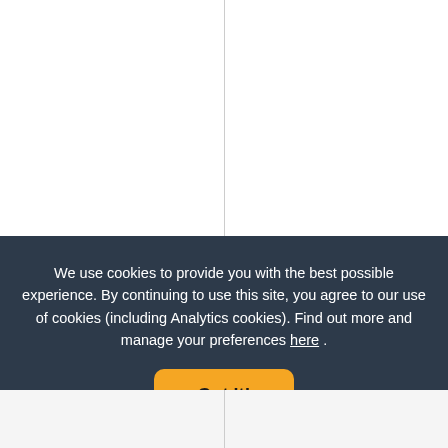[Figure (photo): Product listing page showing two slow cooker products. Left: Lakeland 6L Slow Cooker. Right: Lakeland 3.5L Digital Slow Cooker. Both product image areas are blank/white.]
Lakeland 6L Slow Cooker
Lakeland 3.5L Digital Slow
We use cookies to provide you with the best possible experience. By continuing to use this site, you agree to our use of cookies (including Analytics cookies). Find out more and manage your preferences here .
Got it!